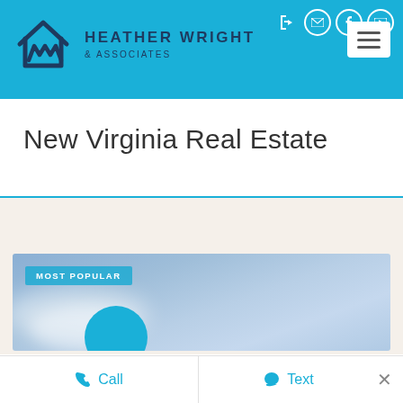[Figure (logo): Heather Wright & Associates real estate logo with house/W icon in dark blue on cyan header bar]
HEATHER WRIGHT & ASSOCIATES
New Virginia Real Estate
[Figure (photo): Blue sky with light clouds, labeled MOST POPULAR in a teal badge overlay]
Call
Text